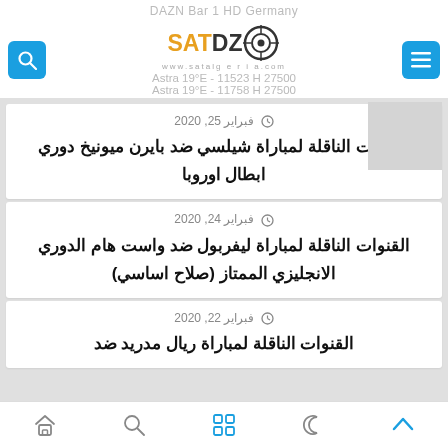DAZN Bar 1 HD Germany
Astra 19°E - 11523 H 27500
Astra 19°E - 11758 H 27500
فبراير 25, 2020
القنوات الناقلة لمباراة شيلسي ضد بايرن ميونيخ دوري ابطال اوروبا
فبراير 24, 2020
القنوات الناقلة لمباراة ليفربول ضد واست هام الدوري الانجليزي الممتاز (صلاح اساسي)
فبراير 22, 2020
القنوات الناقلة لمباراة ريال مدريد ضد